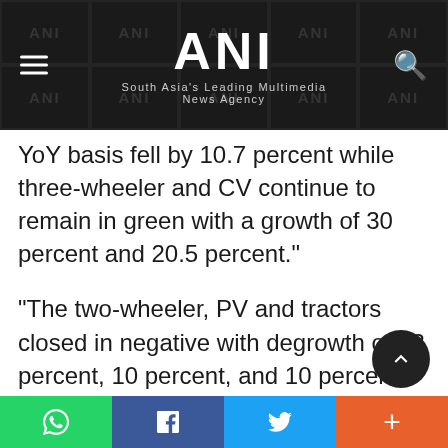ANI — South Asia's Leading Multimedia News Agency
YoY basis fell by 10.7 percent while three-wheeler and CV continue to remain in green with a growth of 30 percent and 20.5 percent."
"The two-wheeler, PV and tractors closed in negative with degrowth of 13 percent, 10 percent, and 10 percent respectively. Auto retails weak performance of 18.4 percent compared to January 2020 (pre-COVID month) continues to show that India is yet t…